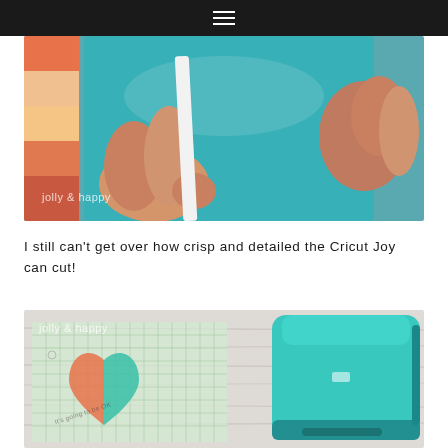≡
[Figure (photo): Close-up photo of a person's hands peeling teal/turquoise vinyl with a white backing strip, with colorful paint swatches visible in the background. A 'jolly & happy' watermark is in the lower left.]
I still can't get over how crisp and detailed the Cricut Joy can cut!
[Figure (photo): Photo of a teal Cricut Joy cutting machine on a white wood surface next to a cutting mat with a colorful heart design and text 'It's going to be OK'. A 'jolly & happy' watermark is in the upper left.]